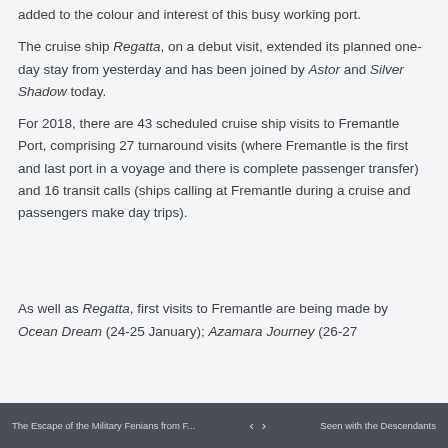added to the colour and interest of this busy working port.
The cruise ship Regatta, on a debut visit, extended its planned one-day stay from yesterday and has been joined by Astor and Silver Shadow today.
For 2018, there are 43 scheduled cruise ship visits to Fremantle Port, comprising 27 turnaround visits (where Fremantle is the first and last port in a voyage and there is complete passenger transfer) and 16 transit calls (ships calling at Fremantle during a cruise and passengers make day trips).
As well as Regatta, first visits to Fremantle are being made by Ocean Dream (24-25 January), Azamara Journey (26-27
The Escape of the Military Fenians from F... | > | Seen with the Descendants